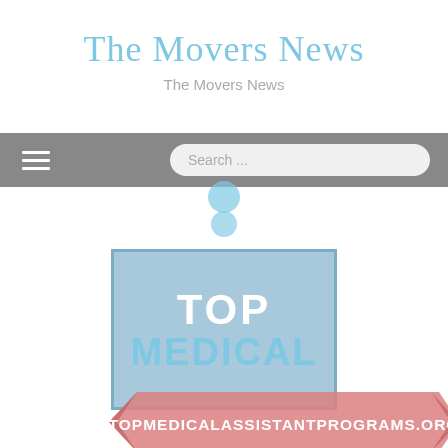The Movers News
The Movers News
[Figure (screenshot): Navigation bar with hamburger menu icon on left and rounded search box on right with placeholder text 'Search ...']
[Figure (logo): Badge graphic with light blue rectangle containing 'TOP' in white bold text and 'MEDICAL' in light blue bold text, overlaid with a pink ribbon banner reading 'TOPMEDICALASSISTANTPROGRAMS.ORG' in white bold text. Ribbon has decorative arrow-cut ends on left and right.]